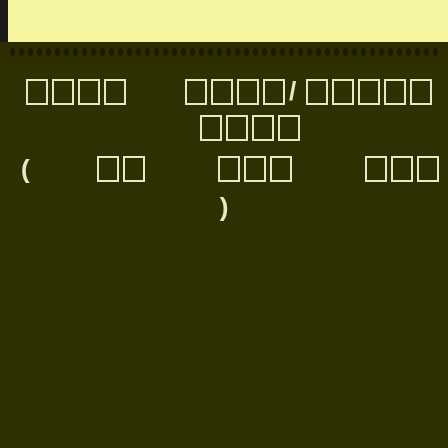[Figure (other): Document cover page with yellow top strip, dark olive green background, decorative dot border row, and two lines of redacted/blocked text in Korean-style character boxes arranged as a title]